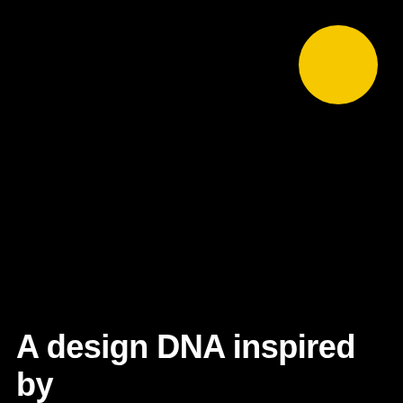[Figure (illustration): Black background with a solid yellow circle in the upper right area]
A design DNA inspired by